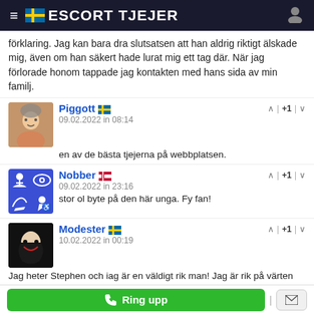ESCORT TJEJER
förklaring. Jag kan bara dra slutsatsen att han aldrig riktigt älskade mig, även om han säkert hade lurat mig ett tag där. När jag förlorade honom tappade jag kontakten med hans sida av min familj.
Piggott 🇸🇪
09.02.2022 in 08:14
en av de bästa tjejerna på webbplatsen.
Nobber 🇩🇰
09.02.2022 in 23:16
stor ol byte på den här unga. Fy fan!
Modester 🇸🇪
10.02.2022 in 00:19
Jag heter Stephen och iag är en väldigt rik man! Jag är rik på värten som inkluderar; medkänsla, samarbete, mod, tro, god humor, hälsa och kondition, ärlighet, mildhet, uthållighet.
Costard 🇸🇪
10.02.2022 in 11:50